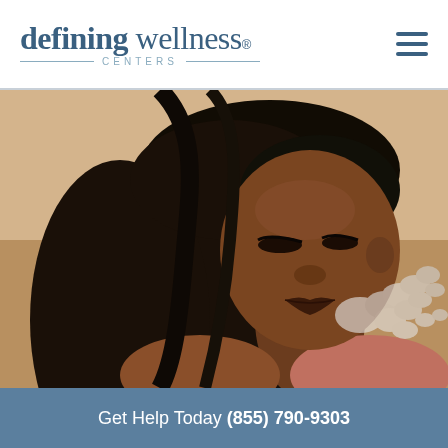[Figure (logo): Defining Wellness Centers logo with stylized text and decorative lines around CENTERS]
[Figure (photo): A woman with long dark hair exhaling smoke against a beige/tan background, wearing a pink top]
Get Help Today (855) 790-9303